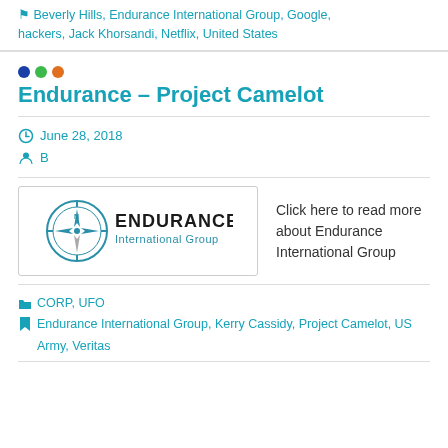Beverly Hills, Endurance International Group, Google, hackers, Jack Khorsandi, Netflix, United States
Endurance – Project Camelot
June 28, 2018
B
[Figure (logo): Endurance International Group logo — compass icon with ENDURANCE text in dark, International Group subtitle in teal]
Click here to read more about Endurance International Group
CORP, UFO
Endurance International Group, Kerry Cassidy, Project Camelot, US Army, Veritas